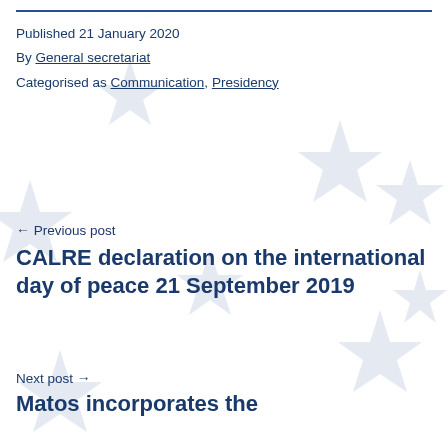Published 21 January 2020
By General secretariat
Categorised as Communication, Presidency
← Previous post
CALRE declaration on the international day of peace 21 September 2019
Next post →
Matos incorporates the